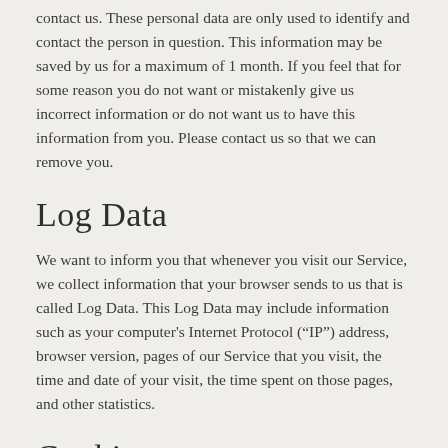contact us. These personal data are only used to identify and contact the person in question. This information may be saved by us for a maximum of 1 month. If you feel that for some reason you do not want or mistakenly give us incorrect information or do not want us to have this information from you. Please contact us so that we can remove you.
Log Data
We want to inform you that whenever you visit our Service, we collect information that your browser sends to us that is called Log Data. This Log Data may include information such as your computer's Internet Protocol (“IP”) address, browser version, pages of our Service that you visit, the time and date of your visit, the time spent on those pages, and other statistics.
Cookies